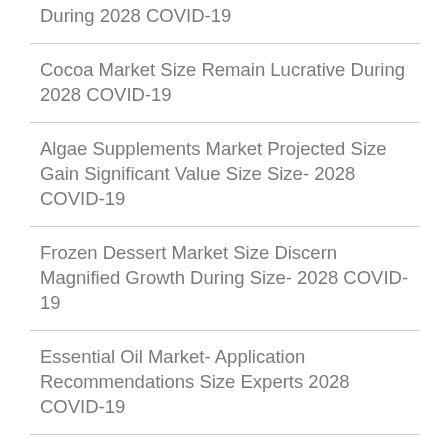During 2028 COVID-19
Cocoa Market Size Remain Lucrative During 2028 COVID-19
Algae Supplements Market Projected Size Gain Significant Value Size Size- 2028 COVID-19
Frozen Dessert Market Size Discern Magnified Growth During Size- 2028 COVID-19
Essential Oil Market- Application Recommendations Size Experts 2028 COVID-19
Omega 3 Ingredients Market– Applications Insights Size 2028 COVID-19